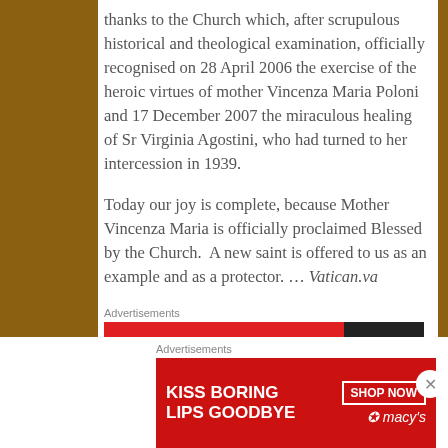thanks to the Church which, after scrupulous historical and theological examination, officially recognised on 28 April 2006 the exercise of the heroic virtues of mother Vincenza Maria Poloni and 17 December 2007 the miraculous healing of Sr Virginia Agostini, who had turned to her intercession in 1939.
Today our joy is complete, because Mother Vincenza Maria is officially proclaimed Blessed by the Church.  A new saint is offered to us as an example and as a protector. … Vatican.va
Advertisements
[Figure (other): Red advertisement banner with dark section on right]
Advertisements
[Figure (other): Macy's advertisement banner: KISS BORING LIPS GOODBYE with SHOP NOW button and Macy's star logo, showing woman's face with red lips]